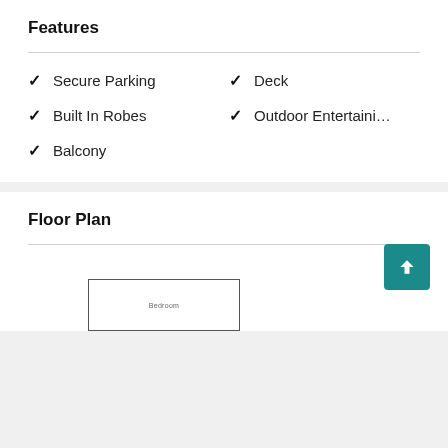Features
Secure Parking
Deck
Built In Robes
Outdoor Entertaini…
Balcony
Floor Plan
[Figure (schematic): Floor plan diagram partially visible at bottom of page showing a room outline with label]